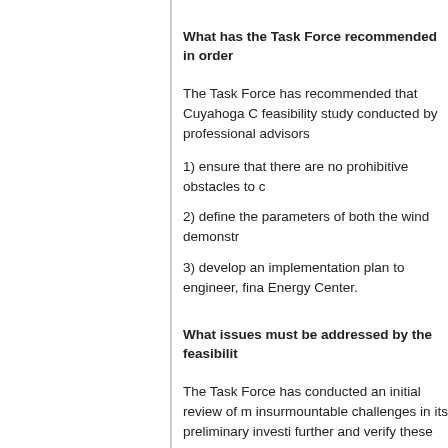What has the Task Force recommended in order
The Task Force has recommended that Cuyahoga C feasibility study conducted by professional advisors
1) ensure that there are no prohibitive obstacles to c
2) define the parameters of both the wind demonstr
3) develop an implementation plan to engineer, fina Energy Center.
What issues must be addressed by the feasibilit
The Task Force has conducted an initial review of m insurmountable challenges in its preliminary investi further and verify these early assessments in more